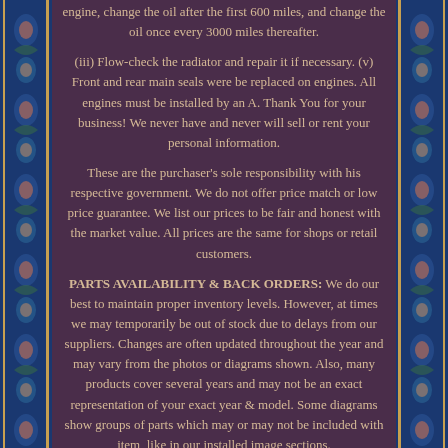engine, change the oil after the first 600 miles, and change the oil once every 3000 miles thereafter.
(iii) Flow-check the radiator and repair it if necessary. (v) Front and rear main seals were be replaced on engines. All engines must be installed by an A. Thank You for your business! We never have and never will sell or rent your personal information.
These are the purchaser's sole responsibility with his respective government. We do not offer price match or low price guarantee. We list our prices to be fair and honest with the market value. All prices are the same for shops or retail customers.
PARTS AVAILABILITY & BACK ORDERS: We do our best to maintain proper inventory levels. However, at times we may temporarily be out of stock due to delays from our suppliers. Changes are often updated throughout the year and may vary from the photos or diagrams shown. Also, many products cover several years and may not be an exact representation of your exact year & model. Some diagrams show groups of parts which may or may not be included with item, like in our installed image sections.
Similarly, some colors or shades of colors shown may vary due to camera flash or lighting. Custom made orders like brake kits, billet control arms and other POLISHED parts we do not keep in stock and are NON REFUNDABLE AND NON RETURNABLE. Subject to the limitations set forth below,